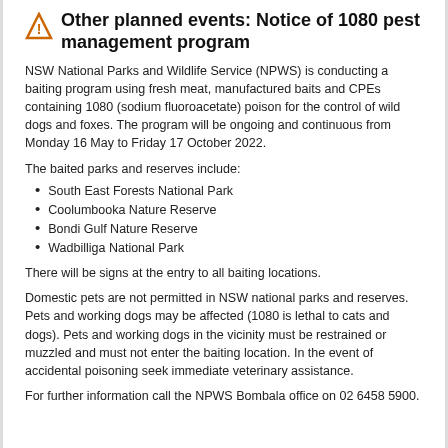Other planned events: Notice of 1080 pest management program
NSW National Parks and Wildlife Service (NPWS) is conducting a baiting program using fresh meat, manufactured baits and CPEs containing 1080 (sodium fluoroacetate) poison for the control of wild dogs and foxes. The program will be ongoing and continuous from Monday 16 May to Friday 17 October 2022.
The baited parks and reserves include:
South East Forests National Park
Coolumbooka Nature Reserve
Bondi Gulf Nature Reserve
Wadbilliga National Park
There will be signs at the entry to all baiting locations.
Domestic pets are not permitted in NSW national parks and reserves. Pets and working dogs may be affected (1080 is lethal to cats and dogs). Pets and working dogs in the vicinity must be restrained or muzzled and must not enter the baiting location. In the event of accidental poisoning seek immediate veterinary assistance.
For further information call the NPWS Bombala office on 02 6458 5900.